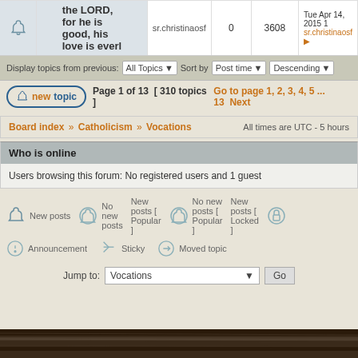|  | Topic | Author | Replies | Views | Last post |
| --- | --- | --- | --- | --- | --- |
| [bell] | the LORD, for he is good, his love is everl | sr.christinaosf | 0 | 3608 | Tue Apr 14, 2015 1
sr.christinaosf |
Display topics from previous: All Topics ▼  Sort by  Post time ▼  Descending ▼
Page 1 of 13  [ 310 topics ]  Go to page 1, 2, 3, 4, 5 ... 13  Next
Board index » Catholicism » Vocations    All times are UTC - 5 hours
Who is online
Users browsing this forum: No registered users and 1 guest
New posts  No new posts  New posts [ Popular ]  No new posts [ Popular ]  New posts [ Locked ]
Announcement  Sticky  Moved topic
Jump to: Vocations  Go